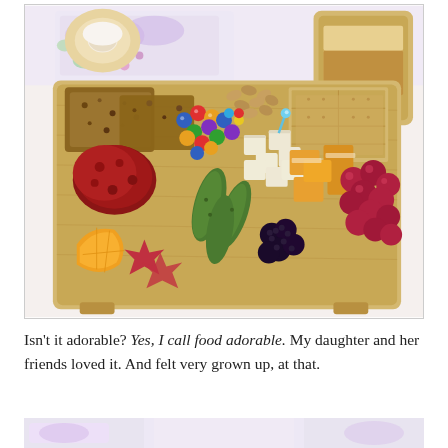[Figure (photo): A wooden charcuterie/snack board viewed from above, arranged with assorted foods including: crackers, almonds, colorful M&M candies, cubed white and orange cheeses, mini pickles, dried fruits, salami/pepperoni, orange segments, gummy candies, red grapes, blackberries, and multigrain bread/crackers. A glass jar with an amber beverage is in the top right. Colorful rainbow-themed napkins or tablecloth visible in background.]
Isn't it adorable? Yes, I call food adorable. My daughter and her friends loved it. And felt very grown up, at that.